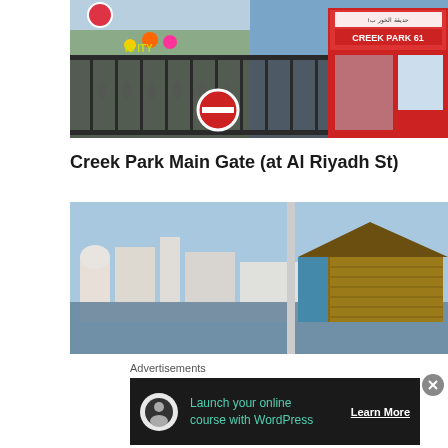[Figure (photo): Creek Park main gate entrance with red booth labeled 'CREEK PARK 61', decorative iron fence, a stop/no-entry road sign, palm trees, and colorful figures in background. People visible near entrance.]
Creek Park Main Gate (at Al Riyadh St)
[Figure (photo): Two-panel photo: left panel shows Dubai creek skyline with modern high-rise buildings reflected in the water; right panel shows a traditional wooden dhow boat structure (museum or heritage site).]
Advertisements
Launch your online course with WordPress
Learn More